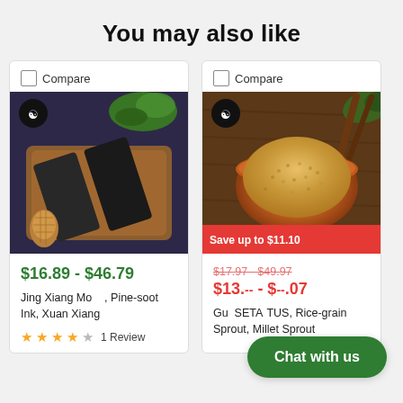You may also like
[Figure (photo): Product image of Jing Xiang Mo pine-soot ink bars on a wooden tray with green plant decoration and a woven pine cone, with a yin-yang logo overlay.]
$16.89 - $46.79
Jing Xiang Mo    , Pine-soot Ink, Xuan Xiang
1 Review
[Figure (photo): Product image of Gu Sui Bu (Setaria italicus, Rice-grain Sprout, Millet Sprout) in a red bowl on a wooden surface with bamboo sticks and green leaves, with a yin-yang logo overlay and a red 'Save up to $11.10' badge.]
Save up to $11.10
$17.97 - $49.97
$13.-- - $--.07
Gu   SETA        TUS, Rice-grain Sprout, Millet Sprout